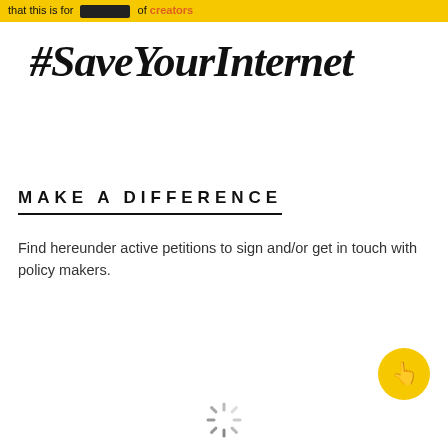that this is for [REDACTED] of creators
#SaveYourInternet
MAKE A DIFFERENCE
Find hereunder active petitions to sign and/or get in touch with policy makers.
[Figure (illustration): Yellow circular FAB button with a pointing hand cursor icon]
[Figure (illustration): Loading spinner icon at bottom center of page]